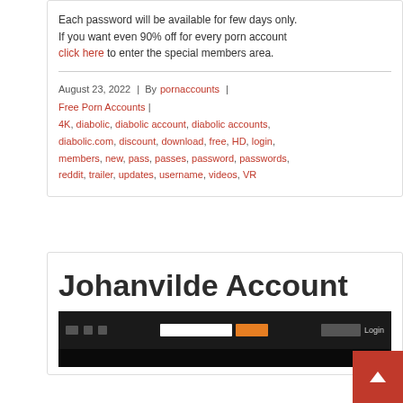Each password will be available for few days only. If you want even 90% off for every porn account click here to enter the special members area.
August 23, 2022 | By pornaccounts | Free Porn Accounts | 4K, diabolic, diabolic account, diabolic accounts, diabolic.com, discount, download, free, HD, login, members, new, pass, passes, password, passwords, reddit, trailer, updates, username, videos, VR
Johanvilde Account
[Figure (screenshot): Screenshot of a dark-themed website header with navigation icons, search bar, orange search button, and login link]